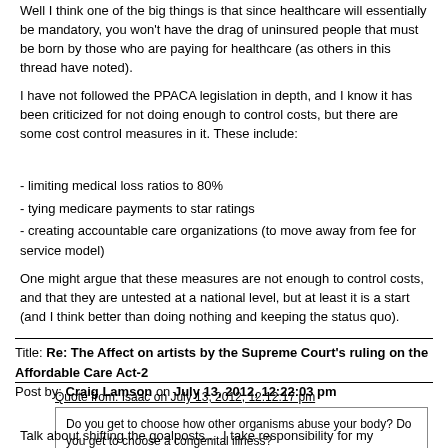Well I think one of the big things is that since healthcare will essentially be mandatory, you won't have the drag of uninsured people that must be born by those who are paying for healthcare (as others in this thread have noted).
I have not followed the PPACA legislation in depth, and I know it has been criticized for not doing enough to control costs, but there are some cost control measures in it. These include:
- limiting medical loss ratios to 80%
- tying medicare payments to star ratings
- creating accountable care organizations (to move away from fee for service model)
One might argue that these measures are not enough to control costs, and that they are untested at a national level, but at least it is a start (and I think better than doing nothing and keeping the status quo).
Title: Re: The Affect on artists by the Supreme Court's ruling on the Affordable Care Act-2
Post by: Craig Lamson on July 13, 2012, 12:22:03 pm
Quote from: Isaac on July 13, 2012, 12:12:17 pm
Do you get to choose how other organisms abuse your body? Do you get to choose a congenital illness?
Talk about shifting the goalposts...  I take responsibility for my